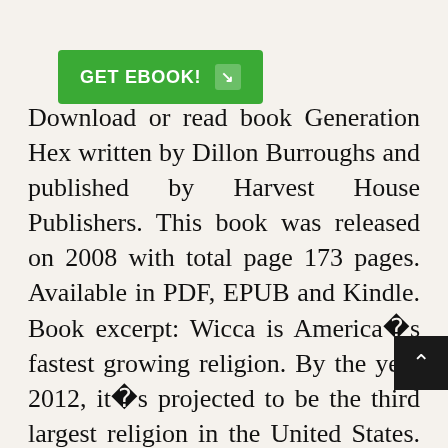[Figure (other): Green 'GET EBOOK!' button with arrow icon]
Download or read book Generation Hex written by Dillon Burroughs and published by Harvest House Publishers. This book was released on 2008 with total page 173 pages. Available in PDF, EPUB and Kindle. Book excerpt: Wicca is America’s fastest growing religion. By the year 2012, it’s projected to be the third largest religion in the United States. In Generation Hex, Marla Alupoaicei and Dillon Burroughs explore the history, culture, and practices of Wi... As part of their research, they interviewed travelers to historic Salem, Massachusetts,